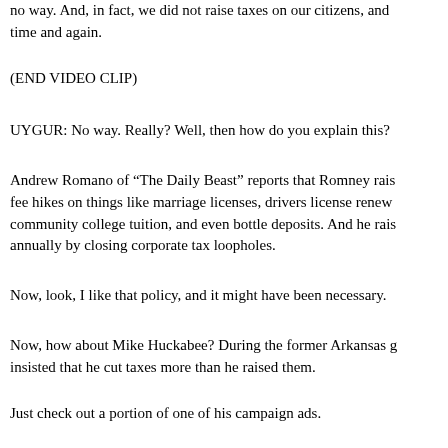no way. And, in fact, we did not raise taxes on our citizens, and time and again.
(END VIDEO CLIP)
UYGUR: No way. Really? Well, then how do you explain this?
Andrew Romano of “The Daily Beast” reports that Romney raised fee hikes on things like marriage licenses, drivers license renewals, community college tuition, and even bottle deposits. And he raised annually by closing corporate tax loopholes.
Now, look, I like that policy, and it might have been necessary.
Now, how about Mike Huckabee? During the former Arkansas governor, insisted that he cut taxes more than he raised them.
Just check out a portion of one of his campaign ads.
(BEGIN VIDEO CLIP)